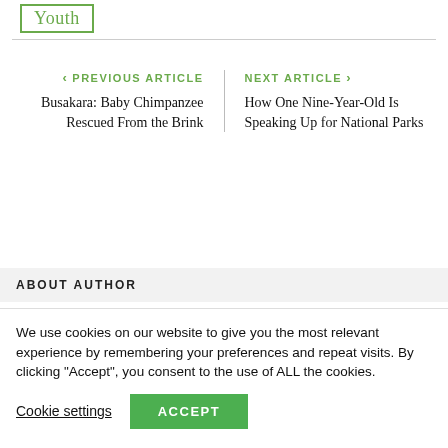Youth
< PREVIOUS ARTICLE
Busakara: Baby Chimpanzee Rescued From the Brink
NEXT ARTICLE >
How One Nine-Year-Old Is Speaking Up for National Parks
ABOUT AUTHOR
We use cookies on our website to give you the most relevant experience by remembering your preferences and repeat visits. By clicking "Accept", you consent to the use of ALL the cookies.
Cookie settings   ACCEPT